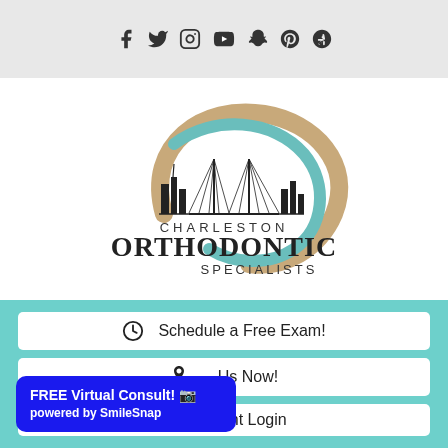Social media icons: Facebook, Twitter, Instagram, YouTube, Snapchat, Pinterest, Yelp
[Figure (logo): Charleston Orthodontic Specialists logo with swoosh design featuring teal and tan/beige colors, with Charleston skyline bridge illustration inside]
Schedule a Free Exam!
Contact Us Now!
Patient Login
FREE Virtual Consult! powered by SmileSnap